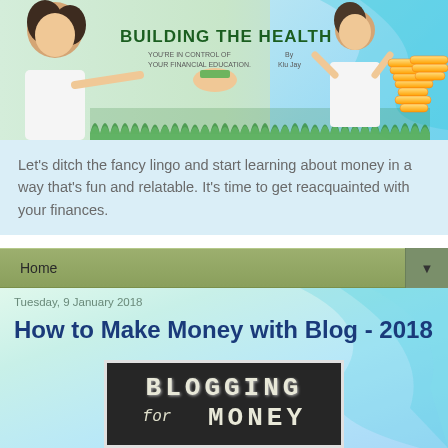[Figure (illustration): Building The Health blog banner with two women, coins, green leaves, and blog title text]
Let's ditch the fancy lingo and start learning about money in a way that's fun and relatable. It's time to get reacquainted with your finances.
Home
Tuesday, 9 January 2018
How to Make Money with Blog - 2018
[Figure (photo): Chalkboard image with text BLOGGING for MONEY written in chalk]